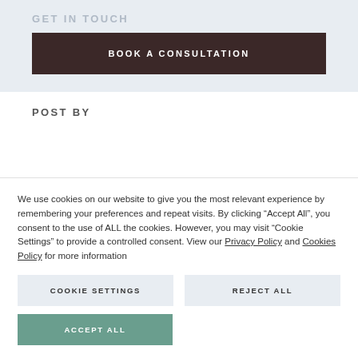GET IN TOUCH
BOOK A CONSULTATION
POST BY
We use cookies on our website to give you the most relevant experience by remembering your preferences and repeat visits. By clicking “Accept All”, you consent to the use of ALL the cookies. However, you may visit “Cookie Settings” to provide a controlled consent. View our Privacy Policy and Cookies Policy for more information
COOKIE SETTINGS
REJECT ALL
ACCEPT ALL